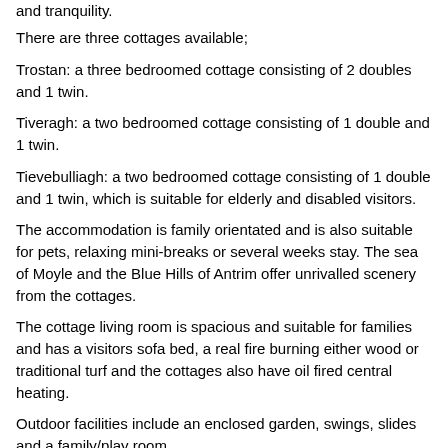and tranquility.
There are three cottages available;
Trostan: a three bedroomed cottage consisting of 2 doubles and 1 twin.
Tiveragh: a two bedroomed cottage consisting of 1 double and 1 twin.
Tievebulliagh: a two bedroomed cottage consisting of 1 double and 1 twin, which is suitable for elderly and disabled visitors.
The accommodation is family orientated and is also suitable for pets, relaxing mini-breaks or several weeks stay. The sea of Moyle and the Blue Hills of Antrim offer unrivalled scenery from the cottages.
The cottage living room is spacious and suitable for families and has a visitors sofa bed, a real fire burning either wood or traditional turf and the cottages also have oil fired central heating.
Outdoor facilities include an enclosed garden, swings, slides and a family/play room.
The pine kitchen has all modern conveniences, including, microwave, washing machine, electric cooker and fridge. There is